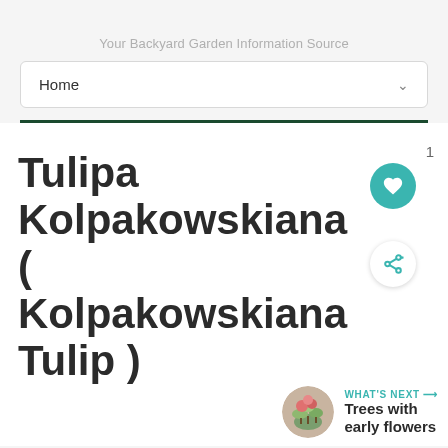Your Backyard Garden Information Source
Home
Tulipa Kolpakowskiana ( Kolpakowskiana Tulip )
1
WHAT'S NEXT → Trees with early flowers